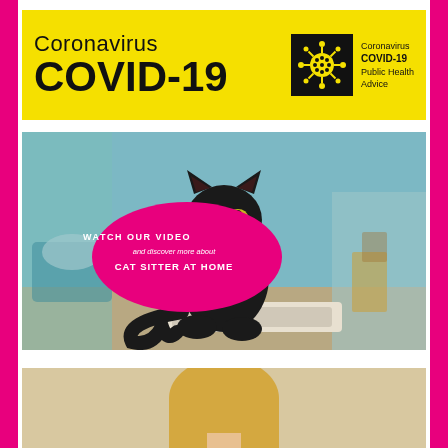[Figure (infographic): Yellow banner with 'Coronavirus COVID-19' text in large bold font, and a black square logo with a white coronavirus illustration on the right with text 'Coronavirus COVID-19 Public Health Advice']
[Figure (photo): Photo of a black cat sitting on the floor indoors, with a pink oval speech bubble overlay reading 'WATCH OUR VIDEO and discover more about CAT SITTER AT HOME']
[Figure (photo): Photo of a blonde woman, partially visible, cropped at the bottom of the page]